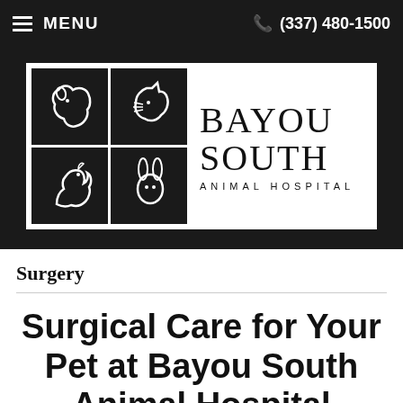MENU | (337) 480-1500
[Figure (logo): Bayou South Animal Hospital logo with four black squares containing animal silhouettes (dog, cat, horse, rabbit) next to large serif text 'BAYOU SOUTH' and smaller spaced text 'ANIMAL HOSPITAL']
Surgery
Surgical Care for Your Pet at Bayou South Animal Hospital